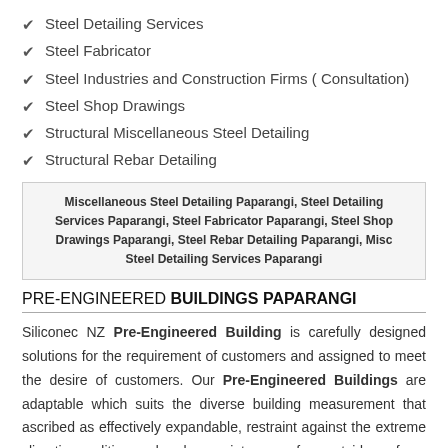Steel Detailing Services
Steel Fabricator
Steel Industries and Construction Firms ( Consultation)
Steel Shop Drawings
Structural Miscellaneous Steel Detailing
Structural Rebar Detailing
Miscellaneous Steel Detailing Paparangi, Steel Detailing Services Paparangi, Steel Fabricator Paparangi, Steel Shop Drawings Paparangi, Steel Rebar Detailing Paparangi, Misc Steel Detailing Services Paparangi
PRE-ENGINEERED BUILDINGS PAPARANGI
Siliconec NZ Pre-Engineered Building is carefully designed solutions for the requirement of customers and assigned to meet the desire of customers. Our Pre-Engineered Buildings are adaptable which suits the diverse building measurement that ascribed as effectively expandable, restraint against the extreme climatic condition and makes maintenance free outside surface. We offer our Pre-Engineered structures to both business and industrial purposes that incorporate